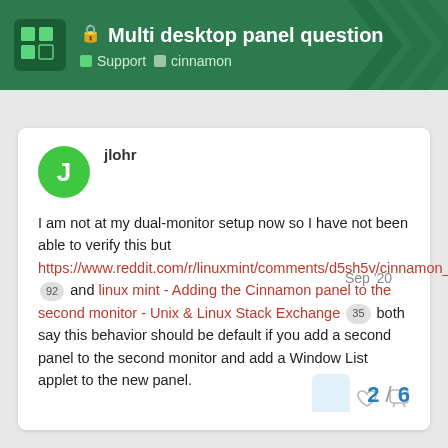🔒 Multi desktop panel question | Support · cinnamon
jlohr — Sep '20
I am not at my dual-monitor setup now so I have not been able to verify this but https://www.reddit.com/r/linuxmint/comments/d5sh5v/cinnamon_dual_monitors_second_panel_and_windows/ 92 and linux mint - Adding the Cinnamon panel to the second monitor - Unix & Linux Stack Exchange 35 both say this behavior should be default if you add a second panel to the second monitor and add a Window List applet to the new panel.
2 / 6